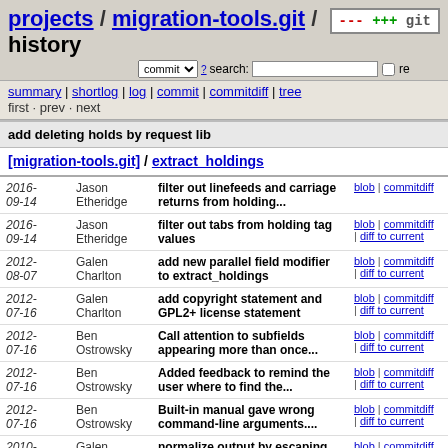projects / migration-tools.git / history
summary | shortlog | log | commit | commitdiff | tree
first · prev · next
add deleting holds by request lib
[migration-tools.git] / extract_holdings
| Date | Author | Message | Links |
| --- | --- | --- | --- |
| 2016-09-14 | Jason Etheridge | filter out linefeeds and carriage returns from holding... | blob | commitdiff |
| 2016-09-14 | Jason Etheridge | filter out tabs from holding tag values | blob | commitdiff | diff to current |
| 2012-08-07 | Galen Charlton | add new parallel field modifier to extract_holdings | blob | commitdiff | diff to current |
| 2012-07-16 | Galen Charlton | add copyright statement and GPL2+ license statement | blob | commitdiff | diff to current |
| 2012-07-16 | Ben Ostrowsky | Call attention to subfields appearing more than once... | blob | commitdiff | diff to current |
| 2012-07-16 | Ben Ostrowsky | Added feedback to remind the user where to find the... | blob | commitdiff | diff to current |
| 2012-07-16 | Ben Ostrowsky | Built-in manual gave wrong command-line arguments.... | blob | commitdiff | diff to current |
| 2010-03-17 | Galen Charlton | normalize output by escaping backslashes... | blob | commitdiff | diff to current |